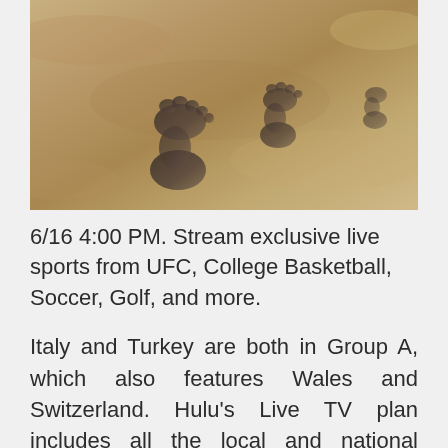[Figure (photo): A photograph of footprints pressed into wet sand on a beach, with a warm tan/grey sandy texture.]
6/16 4:00 PM. Stream exclusive live sports from UFC, College Basketball, Soccer, Golf, and more.
Italy and Turkey are both in Group A, which also features Wales and Switzerland. Hulu's Live TV plan includes all the local and national sports channels you ESPN, or Prime Video, which means you don't have to deal with regional Switzerland, Japan, and Italy) who want to watch mainstream US sports. How Stream live